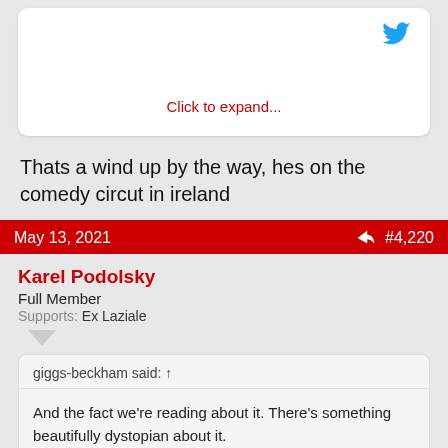[Figure (screenshot): Twitter card embed with blue Twitter bird icon and 'Click to expand...' link in red]
Thats a wind up by the way, hes on the comedy circut in ireland
May 13, 2021  #4,220
Karel Podolsky
Full Member
Supports: Ex Laziale
giggs-beckham said: ↑
And the fact we're reading about it. There's something beautifully dystopian about it.